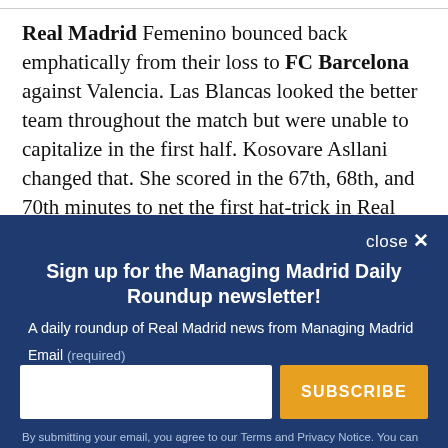Real Madrid Femenino bounced back emphatically from their loss to FC Barcelona against Valencia. Las Blancas looked the better team throughout the match but were unable to capitalize in the first half. Kosovare Asllani changed that. She scored in the 67th, 68th, and 70th minutes to net the first hat-trick in Real Madrid
close ×
Sign up for the Managing Madrid Daily Roundup newsletter!
A daily roundup of Real Madrid news from Managing Madrid
Email (required)
SUBSCRIBE
By submitting your email, you agree to our Terms and Privacy Notice. You can opt out at any time. This site is protected by reCAPTCHA and the Google Privacy Policy and Terms of Service apply.